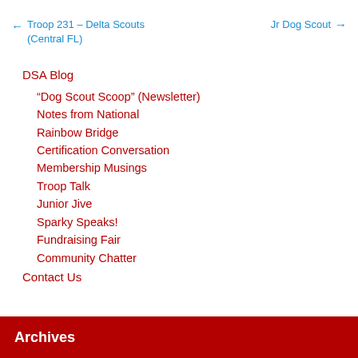← Troop 231 – Delta Scouts (Central FL)     Jr Dog Scout →
DSA Blog
“Dog Scout Scoop” (Newsletter)
Notes from National
Rainbow Bridge
Certification Conversation
Membership Musings
Troop Talk
Junior Jive
Sparky Speaks!
Fundraising Fair
Community Chatter
Contact Us
Archives